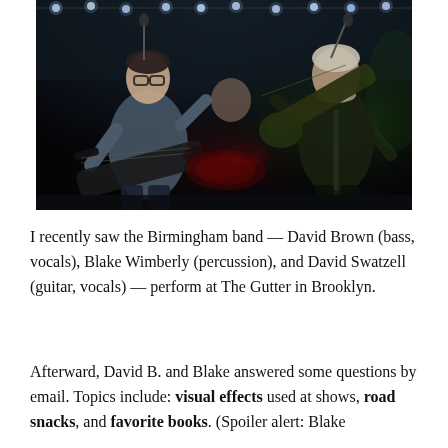[Figure (photo): Band performing on stage — left musician playing bass guitar wearing glasses and a grey shirt, center background has a drummer, right musician playing electric guitar wearing dark clothes. Stage lighting with blue/white lights overhead and green/red ambient lighting.]
I recently saw the Birmingham band — David Brown (bass, vocals), Blake Wimberly (percussion), and David Swatzell (guitar, vocals) — perform at The Gutter in Brooklyn.
Afterward, David B. and Blake answered some questions by email. Topics include: visual effects used at shows, road snacks, and favorite books. (Spoiler alert: Blake